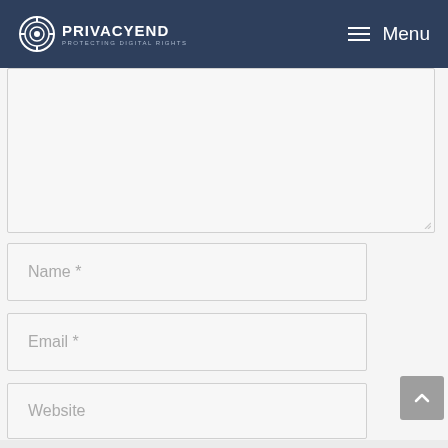PRIVACYEND — PROTECTING DIGITAL RIGHTS | Menu
[Figure (screenshot): Comment form with textarea, Name, Email, Website fields and Post Comment button on a website called PrivacyEnd]
Name *
Email *
Website
Post Comment